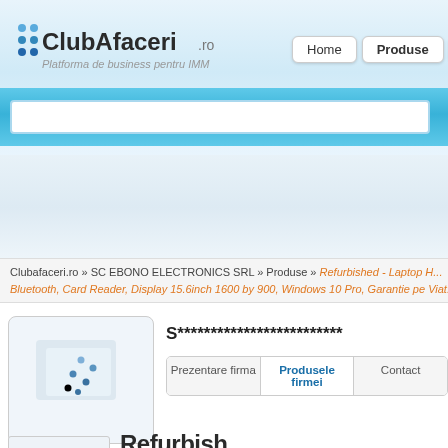[Figure (logo): ClubAfaceri.ro logo with blue dots and tagline 'Platforma de business pentru IMM']
Home | Produse | Firme | Cereri/
Clubafaceri.ro » SC EBONO ELECTRONICS SRL » Produse » Refurbished - Laptop H... Bluetooth, Card Reader, Display 15.6inch 1600 by 900, Windows 10 Pro, Garantie pe Viat...
[Figure (logo): Company logo placeholder image with blue dots pattern]
S*************************
Prezentare firma | Produsele firmei | Contact
Refurbish...